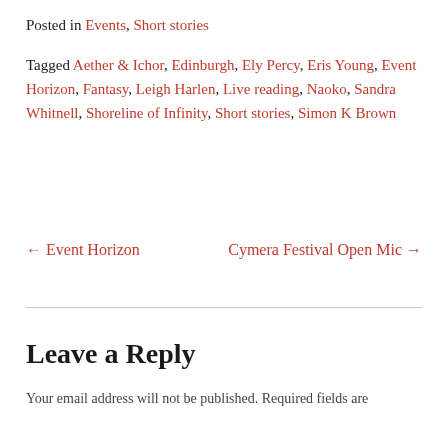Posted in Events, Short stories
Tagged Aether & Ichor, Edinburgh, Ely Percy, Eris Young, Event Horizon, Fantasy, Leigh Harlen, Live reading, Naoko, Sandra Whitnell, Shoreline of Infinity, Short stories, Simon K Brown
← Event Horizon
Cymera Festival Open Mic →
Leave a Reply
Your email address will not be published. Required fields are